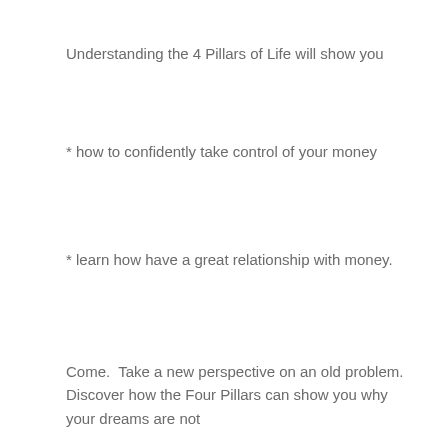Understanding the 4 Pillars of Life will show you
* how to confidently take control of your money
* learn how have a great relationship with money.
Come.  Take a new perspective on an old problem.  Discover how the Four Pillars can show you why your dreams are not